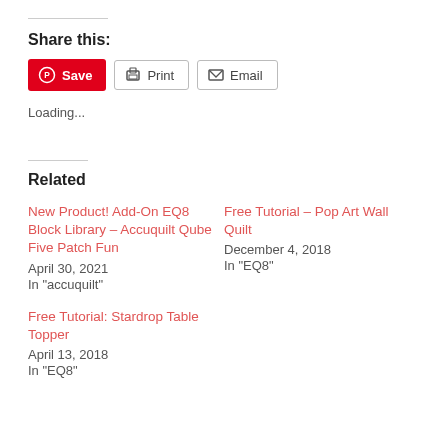Share this:
[Figure (other): Share buttons: Save (Pinterest, red), Print, Email]
Loading...
Related
New Product! Add-On EQ8 Block Library – Accuquilt Qube Five Patch Fun
April 30, 2021
In "accuquilt"
Free Tutorial – Pop Art Wall Quilt
December 4, 2018
In "EQ8"
Free Tutorial: Stardrop Table Topper
April 13, 2018
In "EQ8"